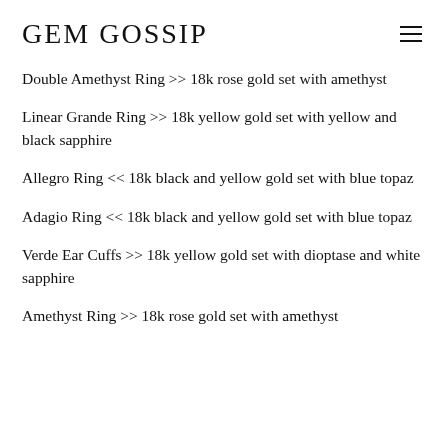GEM GOSSIP
Double Amethyst Ring >> 18k rose gold set with amethyst
Linear Grande Ring >> 18k yellow gold set with yellow and black sapphire
Allegro Ring << 18k black and yellow gold set with blue topaz
Adagio Ring << 18k black and yellow gold set with blue topaz
Verde Ear Cuffs >> 18k yellow gold set with dioptase and white sapphire
Amethyst Ring >> 18k rose gold set with amethyst